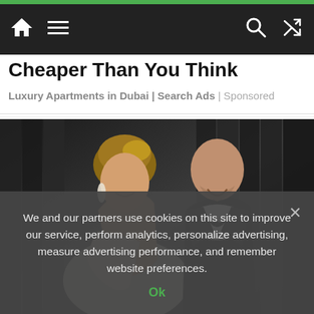Navigation bar with home, menu, search, and shuffle icons
Cheaper Than You Think
Luxury Apartments in Dubai | Search Ads | Sponsored
[Figure (photo): A woman and a man at a formal event; the woman is in a silver/white dress and the man is in a black tuxedo with bow tie, both smiling]
We and our partners use cookies on this site to improve our service, perform analytics, personalize advertising, measure advertising performance, and remember website preferences.
Ok